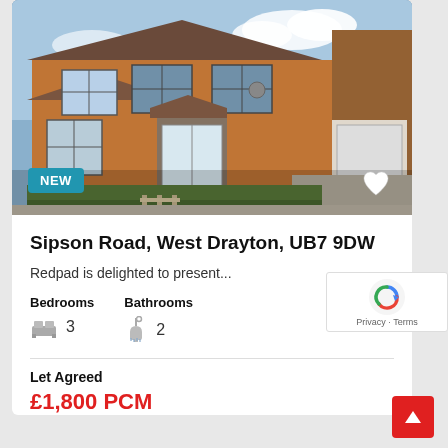[Figure (photo): Exterior photo of a semi-detached brick house with white windows, front garden, and garage visible on the right. A 'NEW' badge appears in the bottom-left of the photo and a heart/favourite icon in the bottom-right.]
Sipson Road, West Drayton, UB7 9DW
Redpad is delighted to present...
Bedrooms   Bathrooms
3   2
Let Agreed
£1,800 PCM